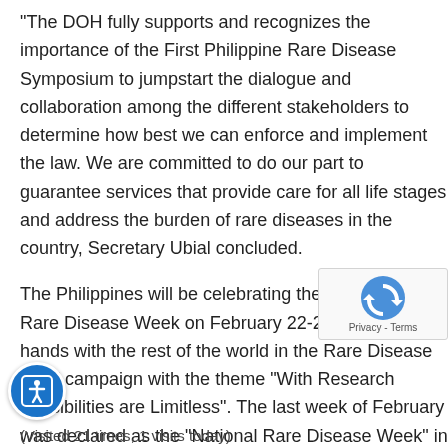“The DOH fully supports and recognizes the importance of the First Philippine Rare Disease Symposium to jumpstart the dialogue and collaboration among the different stakeholders to determine how best we can enforce and implement the law. We are committed to do our part to guarantee services that provide care for all life stages and address the burden of rare diseases in the country, Secretary Ubial concluded.
The Philippines will be celebrating the 8th National Rare Disease Week on February 22-28, 2017, joining hands with the rest of the world in the Rare Disease 2017 campaign with the theme “With Research Possibilities are Limitless”. The last week of February was declared as the “National Rare Disease Week” in the Philippines on February 8, 2010 through the Presidential Proclamation 1989.
(Visited 21 times, 1 visits today)